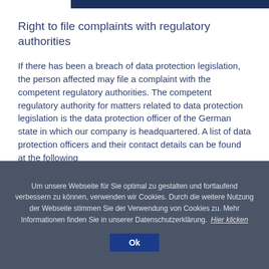Right to file complaints with regulatory authorities
If there has been a breach of data protection legislation, the person affected may file a complaint with the competent regulatory authorities. The competent regulatory authority for matters related to data protection legislation is the data protection officer of the German state in which our company is headquartered. A list of data protection officers and their contact details can be found at the following link: https://www.bfdi.bund.de/DE/Infothek/Anschrifte node.html.
Um unsere Webseite für Sie optimal zu gestalten und fortlaufend verbessern zu können, verwenden wir Cookies. Durch die weitere Nutzung der Webseite stimmen Sie der Verwendung von Cookies zu. Mehr Informationen finden Sie in unserer Datenschutzerklärung. Hier klicken Ok